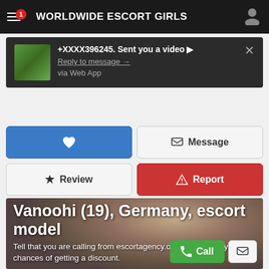WORLDWIDE ESCORT GIRLS
+XXXX396245. Sent you a video ▶
Reply to message →
via Web App
[Figure (screenshot): Notification popup with thumbnail image and message from +XXXX396245]
[Figure (screenshot): Mobile app UI with favorite (heart), Message, Review, and Report buttons]
Vanoohi (19), Germany, escort model
Tell that you are calling from escortagency.one to increase your chances of getting a discount.